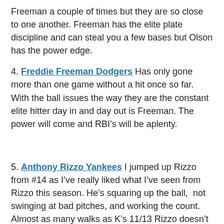Freeman a couple of times but they are so close to one another. Freeman has the elite plate discipline and can steal you a few bases but Olson has the power edge.
4. Freddie Freeman Dodgers Has only gone more than one game without a hit once so far. With the ball issues the way they are the constant elite hitter day in and day out is Freeman. The power will come and RBI's will be aplenty.
5. Anthony Rizzo Yankees I jumped up Rizzo from #14 as I've really liked what I've seen from Rizzo this season. He's squaring up the ball, not swinging at bad pitches, and working the count. Almost as many walks as K's 11/13 Rizzo doesn't have to carry the team as Judge/Stanton get most of the attention but if he can stay around .265/.270 in avg with his power production he's been a steal so far in drafts.
SOLID PROS